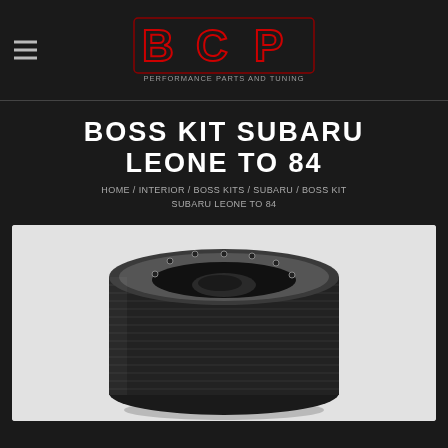[Figure (logo): BCP Performance Parts and Tuning logo — stylized red/dark BCP letters with 'PERFORMANCE PARTS AND TUNING' text below]
BOSS KIT SUBARU LEONE TO 84
HOME / INTERIOR / BOSS KITS / SUBARU / BOSS KIT SUBARU LEONE TO 84
[Figure (photo): Black boss kit / steering wheel hub adapter, cylindrical rubber-covered component with metal ring at top with bolts, viewed from above at an angle, on white background]